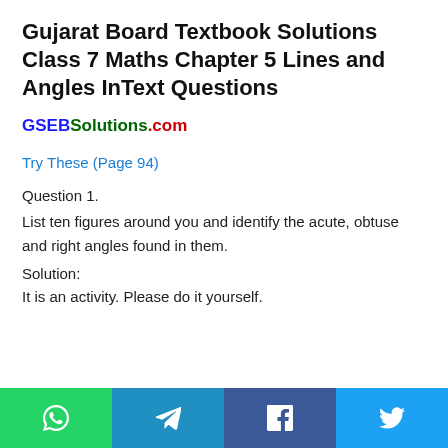Gujarat Board Textbook Solutions Class 7 Maths Chapter 5 Lines and Angles InText Questions
GSEBSolutions.com
Try These (Page 94)
Question 1.
List ten figures around you and identify the acute, obtuse and right angles found in them.
Solution:
It is an activity. Please do it yourself.